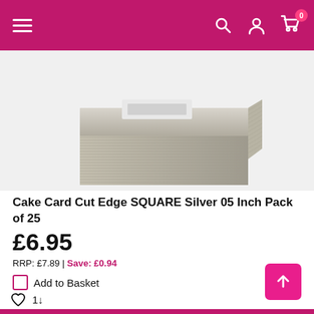Navigation bar with hamburger menu, search, user account, and cart (0 items)
[Figure (photo): Product photo of stacked silver square cake cards with corrugated texture, cut edge style, partially visible from top]
Cake Card Cut Edge SQUARE Silver 05 Inch Pack of 25
£6.95
RRP: £7.89 | Save: £0.94
Add to Basket
1↓